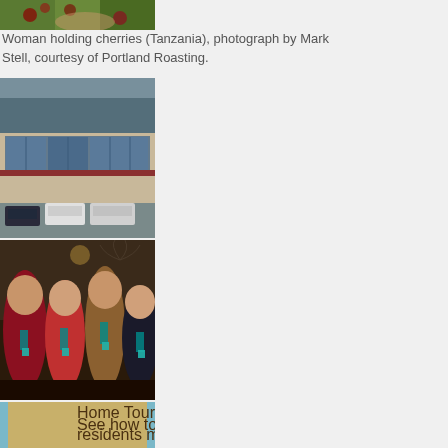[Figure (photo): Top portion of a photo showing woman holding cherries (Tanzania), partially cropped at top]
Woman holding cherries (Tanzania), photograph by Mark Stell, courtesy of Portland Roasting.
[Figure (photo): Exterior photo of a modern building with stone/brick facade and large windows, with parked cars in front including a white pickup truck, trees visible in background]
[Figure (photo): Group photo of four people (one man and three women) posing together indoors, wearing teal/turquoise lanyards/badges, with antlers visible in background]
[Figure (photo): Partial view of a pamphlet or brochure with script text reading 'Home Tour' and 'See how today's residents make creative use of small' on a tan/gold background with blue border]